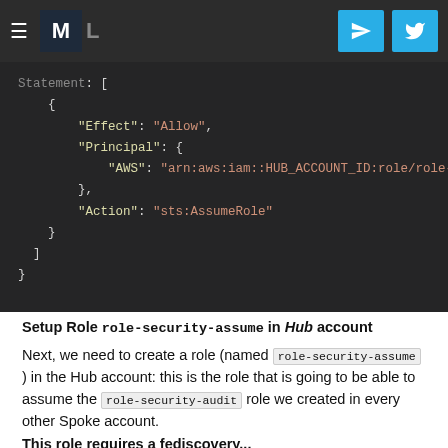[Figure (screenshot): Navigation bar with hamburger menu, M logo, L letter, and two cyan social/share buttons]
[Figure (screenshot): Dark code editor screenshot showing JSON policy with Statement, Effect Allow, Principal AWS arn:aws:iam::HUB_ACCOUNT_ID:role/role-se..., Action sts:AssumeRole]
Setup Role role-security-assume in Hub account
Next, we need to create a role (named role-security-assume ) in the Hub account: this is the role that is going to be able to assume the role-security-audit role we created in every other Spoke account.
This role requires a fediscovery...